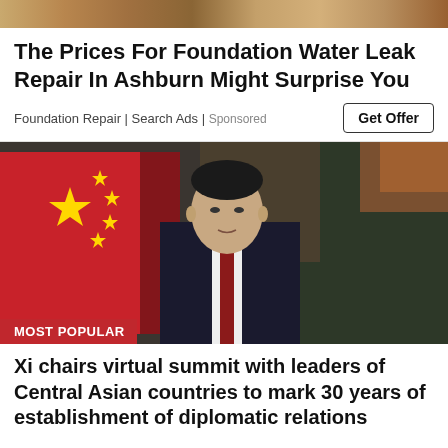[Figure (photo): Top strip showing a sandy/rocky terrain background image]
The Prices For Foundation Water Leak Repair In Ashburn Might Surprise You
Foundation Repair | Search Ads | Sponsored
Get Offer
[Figure (photo): Photo of Xi Jinping standing at a podium with a large red Chinese flag with yellow stars to his left, and a dark mural of the Great Wall in the background. A red label reads MOST POPULAR in the bottom left corner.]
Xi chairs virtual summit with leaders of Central Asian countries to mark 30 years of establishment of diplomatic relations